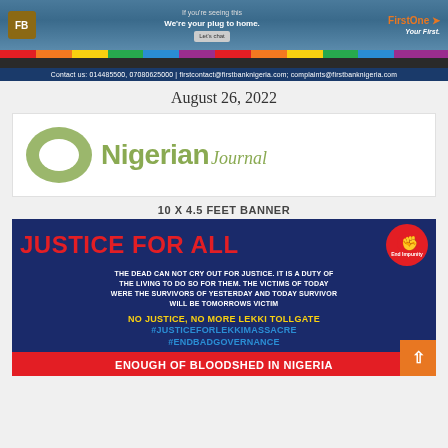[Figure (screenshot): First Bank Nigeria website banner with logo, 'If you're seeing this We're your plug to home. Let's chat' text, and FirstOne branding]
Contact us: 014485500, 07080625000 | firstcontact@firstbanknigeria.com; complaints@firstbanknigeria.com
August 26, 2022
[Figure (logo): Nigerian Journal logo with green ellipse/ring shape and text 'Nigerian Journal' in olive green]
10 X 4.5 FEET BANNER
[Figure (infographic): Protest banner with dark blue background. Red text: JUSTICE FOR ALL with End Impunity badge. White text: THE DEAD CAN NOT CRY OUT FOR JUSTICE. IT IS A DUTY OF THE LIVING TO DO SO FOR THEM. THE VICTIMS OF TODAY WERE THE SURVIVORS OF YESTERDAY AND TODAY SURVIVOR WILL BE TOMORROWS VICTIM. Yellow text: NO JUSTICE, NO MORE LEKKI TOLLGATE. Blue text: #JUSTICEFORLEKKIMASSACRE #ENDBADGOVERNANCE. Red bottom bar: ENOUGH OF BLOODSHED IN NIGERIA]